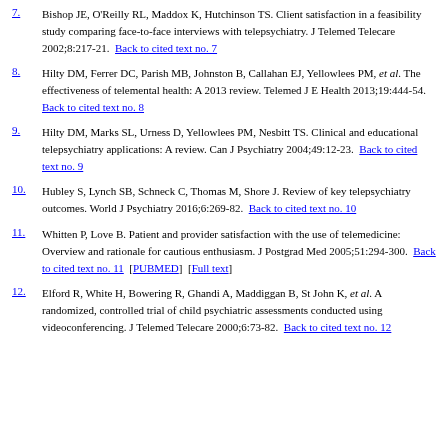7. Bishop JE, O'Reilly RL, Maddox K, Hutchinson TS. Client satisfaction in a feasibility study comparing face-to-face interviews with telepsychiatry. J Telemed Telecare 2002;8:217-21. Back to cited text no. 7
8. Hilty DM, Ferrer DC, Parish MB, Johnston B, Callahan EJ, Yellowlees PM, et al. The effectiveness of telemental health: A 2013 review. Telemed J E Health 2013;19:444-54. Back to cited text no. 8
9. Hilty DM, Marks SL, Urness D, Yellowlees PM, Nesbitt TS. Clinical and educational telepsychiatry applications: A review. Can J Psychiatry 2004;49:12-23. Back to cited text no. 9
10. Hubley S, Lynch SB, Schneck C, Thomas M, Shore J. Review of key telepsychiatry outcomes. World J Psychiatry 2016;6:269-82. Back to cited text no. 10
11. Whitten P, Love B. Patient and provider satisfaction with the use of telemedicine: Overview and rationale for cautious enthusiasm. J Postgrad Med 2005;51:294-300. Back to cited text no. 11 [PUBMED] [Full text]
12. Elford R, White H, Bowering R, Ghandi A, Maddiggan B, St John K, et al. A randomized, controlled trial of child psychiatric assessments conducted using videoconferencing. J Telemed Telecare 2000;6:73-82. Back to cited text no. 12